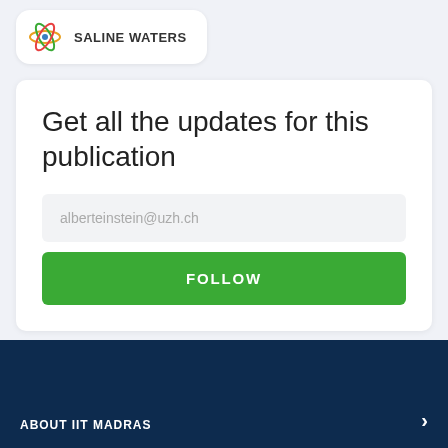[Figure (logo): Saline Waters publication logo with atomic/orbital icon and text SALINE WATERS]
Get all the updates for this publication
alberteinstein@uzh.ch (email input placeholder)
FOLLOW (button)
ABOUT IIT MADRAS